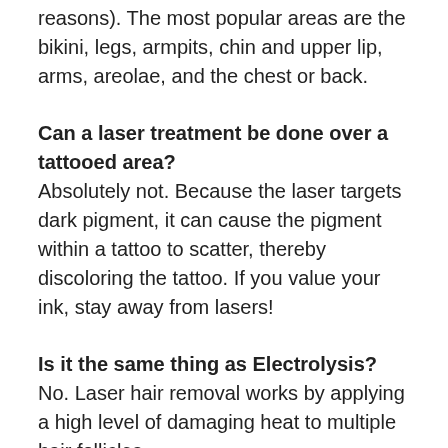reasons).  The most popular areas are the bikini, legs, armpits, chin and upper lip, arms, areolae, and the chest or back.
Can a laser treatment be done over a tattooed area?
Absolutely not.  Because the laser targets dark pigment, it can cause the pigment within a tattoo to scatter, thereby discoloring the tattoo.  If you value your ink, stay away from lasers!
Is it the same thing as Electrolysis?
No.  Laser hair removal works by applying a high level of damaging heat to multiple hair follicles...